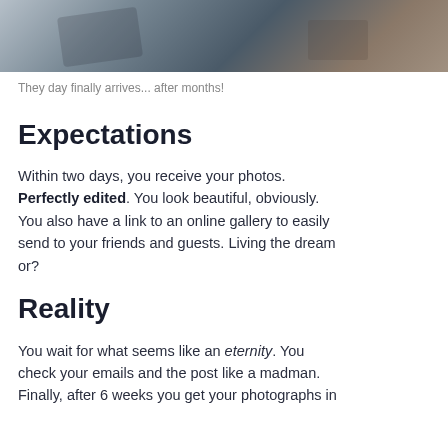[Figure (photo): Top portion of a photo showing someone with a camera, partially cropped at the top of the page]
They day finally arrives... after months!
Expectations
Within two days, you receive your photos. Perfectly edited. You look beautiful, obviously. You also have a link to an online gallery to easily send to your friends and guests. Living the dream or?
Reality
You wait for what seems like an eternity. You check your emails and the post like a madman. Finally, after 6 weeks you get your photographs in